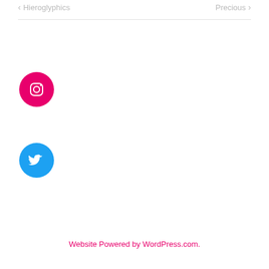< Hieroglyphics
Precious >
[Figure (logo): Instagram logo — pink circle with white camera icon]
[Figure (logo): Twitter logo — blue circle with white bird icon]
Website Powered by WordPress.com.